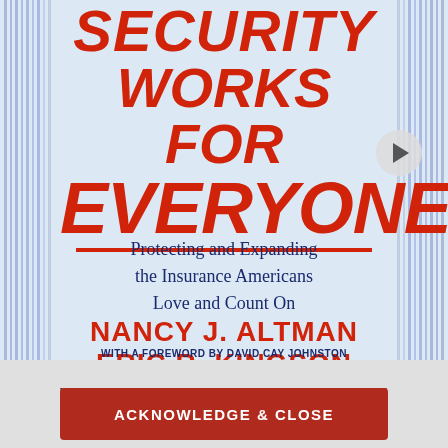[Figure (illustration): Book cover for 'Social Security Works for Everyone!' by Nancy J. Altman and Eric R. Kingson, with a foreword by David Cay Johnston. Light blue background with red bold italic title text, dark blue subtitle, decorative vertical column lines on left and right sides, and a play button circle on the upper right.]
SECURITY WORKS FOR EVERYONE!
Protecting and Expanding the Insurance Americans Love and Count On
NANCY J. ALTMAN ERIC R. KINGSON
WITH A FOREWORD BY DAVID CAY JOHNSTON
WE HAVE UPDATED OUR PRIVACY POLICY. CLICK HERE TO READ OUR FULL POLICY.
ACKNOWLEDGE & CLOSE